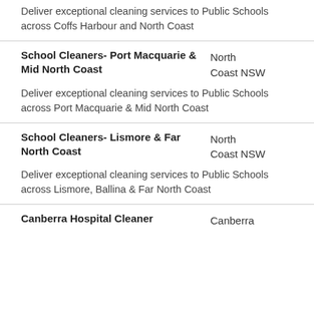Deliver exceptional cleaning services to Public Schools across Coffs Harbour and North Coast
School Cleaners- Port Macquarie & Mid North Coast
North Coast NSW
Deliver exceptional cleaning services to Public Schools across Port Macquarie & Mid North Coast
School Cleaners- Lismore & Far North Coast
North Coast NSW
Deliver exceptional cleaning services to Public Schools across Lismore, Ballina & Far North Coast
Canberra Hospital Cleaner
Canberra